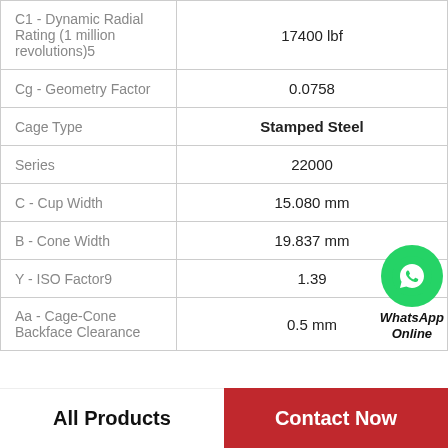| Property | Value |
| --- | --- |
| C1 - Dynamic Radial Rating (1 million revolutions)5 | 17400 lbf |
| Cg - Geometry Factor | 0.0758 |
| Cage Type | Stamped Steel |
| Series | 22000 |
| C - Cup Width | 15.080 mm |
| B - Cone Width | 19.837 mm |
| Y - ISO Factor9 | 1.39 |
| Aa - Cage-Cone Backface Clearance | 0.5 mm |
All Products    Contact Now